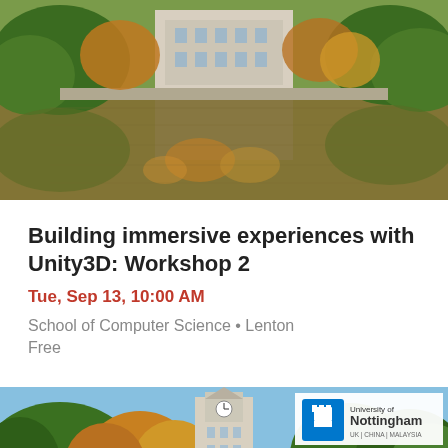[Figure (photo): Aerial/lakeside view of a university campus building reflected in a pond, surrounded by autumn trees]
Building immersive experiences with Unity3D: Workshop 2
Tue, Sep 13, 10:00 AM
School of Computer Science • Lenton
Free
[Figure (photo): University of Nottingham campus building with clock tower surrounded by autumn trees, with University of Nottingham logo overlay (UK | China | Malaysia)]